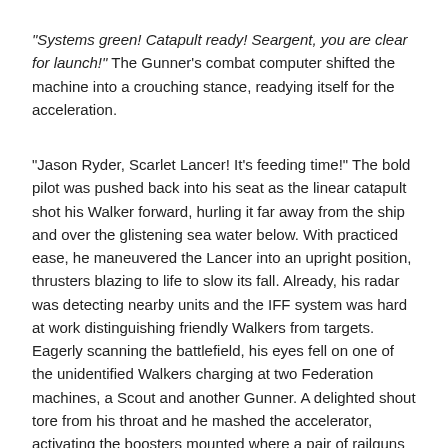"Systems green! Catapult ready! Seargent, you are clear for launch!" The Gunner's combat computer shifted the machine into a crouching stance, readying itself for the acceleration.
"Jason Ryder, Scarlet Lancer! It's feeding time!" The bold pilot was pushed back into his seat as the linear catapult shot his Walker forward, hurling it far away from the ship and over the glistening sea water below. With practiced ease, he maneuvered the Lancer into an upright position, thrusters blazing to life to slow its fall. Already, his radar was detecting nearby units and the IFF system was hard at work distinguishing friendly Walkers from targets. Eagerly scanning the battlefield, his eyes fell on one of the unidentified Walkers charging at two Federation machines, a Scout and another Gunner. A delighted shout tore from his throat and he mashed the accelerator, activating the boosters mounted where a pair of railguns once sat on its back. The added thrust pushed his Walker in a direct intercept course, plummeting towards the enemy trying to attack his allies from behind.